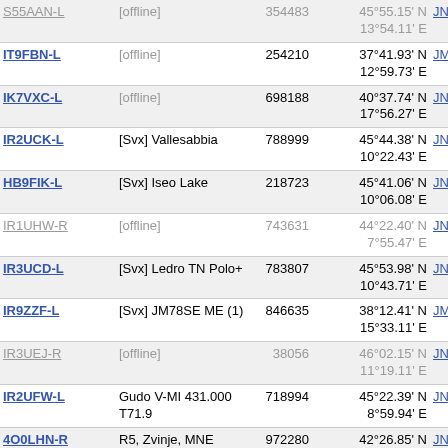| Callsign | Name | Node | Coordinates | Grid | Dist | Freq |
| --- | --- | --- | --- | --- | --- | --- |
| S55AAN-L | [offline] | 354483 | 45°55.15' N 13°54.11' E | JN65w | 288.1 | 145. |
| IT9FBN-L | [offline] | 254210 | 37°41.93' N 12°59.73' E | JM67lq | 288.1 | 144.6 |
| IK7VXC-L | [offline] | 698188 | 40°37.74' N 17°56.27' E | JN80xp | 289.0 | 432.8 |
| IR2UCK-L | [Svx] Vallesabbia | 788999 | 45°44.38' N 10°22.43' E | JN55er | 291.3 | 144.5 |
| HB9FIK-L | [Svx] Iseo Lake | 218723 | 45°41.06' N 10°06.08' E | JN55bq | 293.3 | 145.3 |
| IR1UHW-R | [offline] | 743631 | 44°22.40' N 7°55.47' E | JN34xi | 294.4 | 430.0 |
| IR3UCD-L | [Svx] Ledro TN Polo+ | 783807 | 45°53.98' N 10°43.71' E | JN55iv | 295.3 | 144.7 |
| IR9ZZF-L | [Svx] JM78SE ME (1) | 846635 | 38°12.41' N 15°33.11' E | JM78se | 296.1 | 145.5 |
| IR3UEJ-R | [offline] | 38056 | 46°02.15' N 11°19.11' E | JN56pa | 296.5 | 430.4 |
| IR2UFW-L | Gudo V-MI 431.000 T71.9 | 718994 | 45°22.39' N 8°59.94' E | JN45li | 303.6 | 431.0 |
| 4O0LHN-R | R5, Zvinje, MNE | 972280 | 42°26.85' N 18°29.61' E | JN92fk | 303.7 | 145.7 |
| IU2NAF-L | [Svx] TG 22200 (1) | 477884 | 45°42.98' N 9°30.96' E | JN45sr | 308.9 | 434.3 |
| IQ2XN-R | Link C.I.S.A.R. Orobie (BG) | 361263 | 45°43.33' N 9°29.21' E | JN45rr | 310.0 | 145.6 |
| F4ONQ-L | [offline] | 306989 | 43°34.23' N | JN33ln | 311.0 | 145.3 |